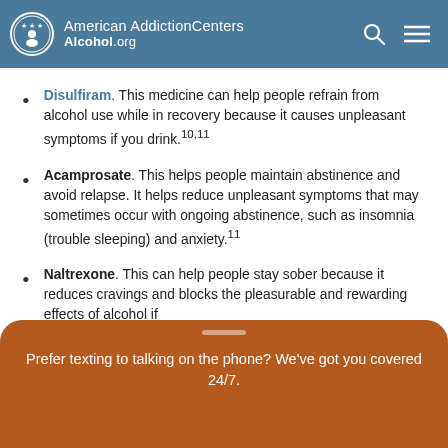American AddictionCenters Alcohol.org
Disulfiram. This medicine can help people refrain from alcohol use while in recovery because it causes unpleasant symptoms if you drink.10,11
Acamprosate. This helps people maintain abstinence and avoid relapse. It helps reduce unpleasant symptoms that may sometimes occur with ongoing abstinence, such as insomnia (trouble sleeping) and anxiety.11
Naltrexone. This can help people stay sober because it reduces cravings and blocks the pleasurable and rewarding effects of alcohol if
Prefer texting to talking on the phone? We've got you covered 24/7.